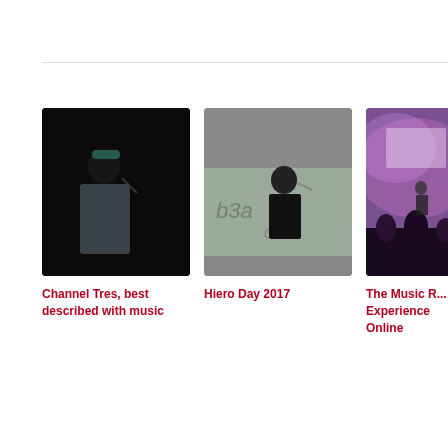[Figure (photo): Concert photo: performer in teal hat at microphone against dark background]
Channel Tres, best described with music
[Figure (photo): Outdoor concert photo: rapper performing on stage with graffiti wall background (Hiero Day 2017)]
Hiero Day 2017
[Figure (photo): Concert photo with purple smoke and crowd silhouettes (The Music R... Experience... Online)]
The Music R... Experience Online